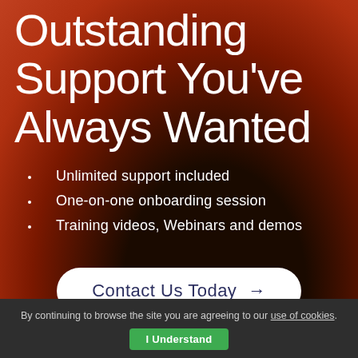Outstanding Support You've Always Wanted
Unlimited support included
One-on-one onboarding session
Training videos, Webinars and demos
Contact Us Today →
By continuing to browse the site you are agreeing to our use of cookies. I Understand